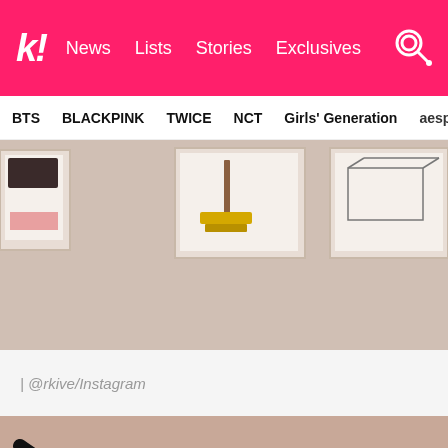k! News Lists Stories Exclusives
BTS  BLACKPINK  TWICE  NCT  Girls' Generation  aespa
[Figure (photo): Gallery wall with framed artworks including drawings of household objects like a broom, box, and pink items on a beige/taupe wall]
| @rkive/Instagram
[Figure (photo): Partial view of an interior gallery space with black diagonal lines/cables against a beige/peach wall]